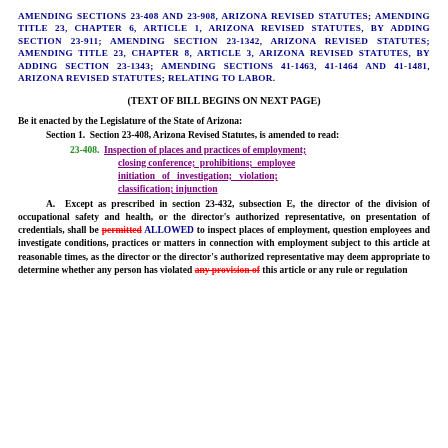AMENDING SECTIONS 23-408 AND 23-908, ARIZONA REVISED STATUTES; AMENDING TITLE 23, CHAPTER 6, ARTICLE 1, ARIZONA REVISED STATUTES, BY ADDING SECTION 23-911; AMENDING SECTION 23-1342, ARIZONA REVISED STATUTES; AMENDING TITLE 23, CHAPTER 8, ARTICLE 3, ARIZONA REVISED STATUTES, BY ADDING SECTION 23-1343; AMENDING SECTIONS 41-1463, 41-1464 AND 41-1481, ARIZONA REVISED STATUTES; RELATING TO LABOR.
(TEXT OF BILL BEGINS ON NEXT PAGE)
Be it enacted by the Legislature of the State of Arizona:
Section 1.  Section 23-408, Arizona Revised Statutes, is amended to read:
23-408.  Inspection of places and practices of employment; closing conference; prohibitions; employee initiation of investigation; violation; classification; injunction
A.  Except as prescribed in section 23-432, subsection E, the director of the division of occupational safety and health, or the director's authorized representative, on presentation of credentials, shall be permitted ALLOWED to inspect places of employment, question employees and investigate conditions, practices or matters in connection with employment subject to this article at reasonable times, as the director or the director's authorized representative may deem appropriate to determine whether any person has violated any provision of this article or any rule or regulation